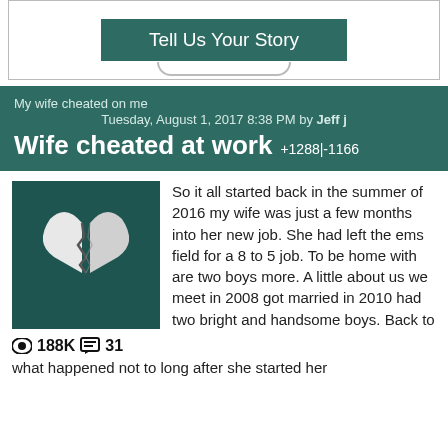[Figure (other): Tell Us Your Story button with teal background and curved bottom decoration]
My wife cheated on me
Tuesday, August 1, 2017 8:38 PM by Jeff j
Wife cheated at work +1288|-1166
[Figure (illustration): Broken heart icon on dark teal background]
188K 31
So it all started back in the summer of 2016 my wife was just a few months into her new job. She had left the ems field for a 8 to 5 job. To be home with are two boys more. A little about us we meet in 2008 got married in 2010 had two bright and handsome boys. Back to what happened not to long after she started her